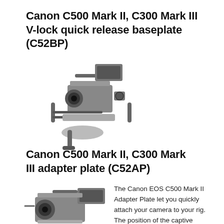Canon C500 Mark II, C300 Mark III V-lock quick release baseplate (C52BP)
[Figure (photo): Grayscale photo of a camera rig with Canon C500 Mark II mounted on a shoulder rig with handles, monitor, and follow focus accessories]
Canon C500 Mark II, C300 Mark III adapter plate (C52AP)
[Figure (photo): Grayscale photo of a Canon EOS C500 Mark II camera with adapter plate and monitor attached]
The Canon EOS C500 Mark II Adapter Plate let you quickly attach your camera to your rig. The position of the captive